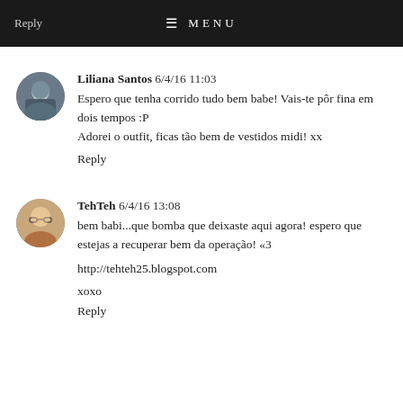Reply  ☰ MENU
Liliana Santos  6/4/16 11:03
Espero que tenha corrido tudo bem babe! Vais-te pôr fina em dois tempos :P
Adorei o outfit, ficas tão bem de vestidos midi! xx
Reply
TehTeh  6/4/16 13:08
bem babi...que bomba que deixaste aqui agora! espero que estejas a recuperar bem da operação! «3
http://tehteh25.blogspot.com
xoxo
Reply